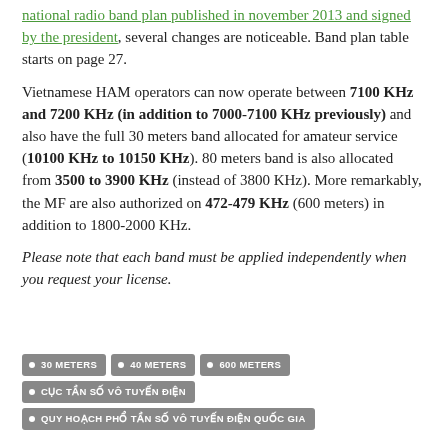national radio band plan published in november 2013 and signed by the president, several changes are noticeable. Band plan table starts on page 27.
Vietnamese HAM operators can now operate between 7100 KHz and 7200 KHz (in addition to 7000-7100 KHz previously) and also have the full 30 meters band allocated for amateur service (10100 KHz to 10150 KHz). 80 meters band is also allocated from 3500 to 3900 KHz (instead of 3800 KHz). More remarkably, the MF are also authorized on 472-479 KHz (600 meters) in addition to 1800-2000 KHz.
Please note that each band must be applied independently when you request your license.
30 METERS
40 METERS
600 METERS
CỤC TẦN SỐ VÔ TUYẾN ĐIỆN
QUY HOẠCH PHỔ TẦN SỐ VÔ TUYẾN ĐIỆN QUỐC GIA